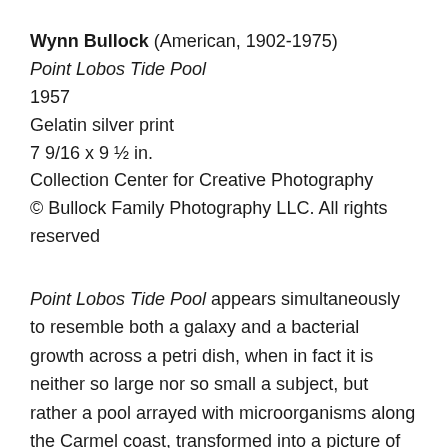Wynn Bullock (American, 1902-1975)
Point Lobos Tide Pool
1957
Gelatin silver print
7 9/16 x 9 ½ in.
Collection Center for Creative Photography
© Bullock Family Photography LLC. All rights reserved
Point Lobos Tide Pool appears simultaneously to resemble both a galaxy and a bacterial growth across a petri dish, when in fact it is neither so large nor so small a subject, but rather a pool arrayed with microorganisms along the Carmel coast, transformed into a picture of